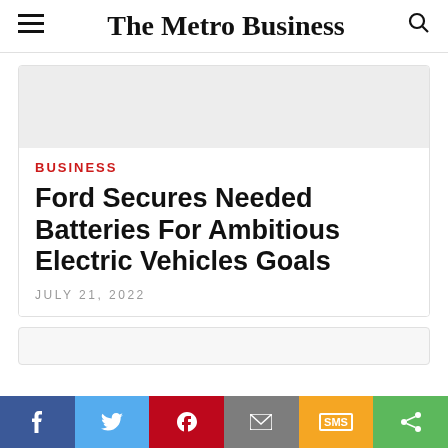The Metro Business
[Figure (other): Advertisement/image placeholder area (light grey box)]
BUSINESS
Ford Secures Needed Batteries For Ambitious Electric Vehicles Goals
JULY 21, 2022
[Figure (other): Second article card stub (light grey box)]